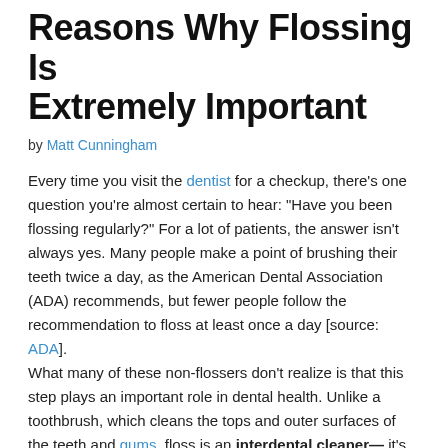Reasons Why Flossing Is Extremely Important
by Matt Cunningham
Every time you visit the dentist for a checkup, there's one question you're almost certain to hear: "Have you been flossing regularly?" For a lot of patients, the answer isn't always yes. Many people make a point of brushing their teeth twice a day, as the American Dental Association (ADA) recommends, but fewer people follow the recommendation to floss at least once a day [source: ADA]. What many of these non-flossers don't realize is that this step plays an important role in dental health. Unlike a toothbrush, which cleans the tops and outer surfaces of the teeth and gums, floss is an interdental cleaner— it's designed specifically to clean the tight spaces between the teeth and the gap between the base of the teeth and the gums. These are places that a toothbrush